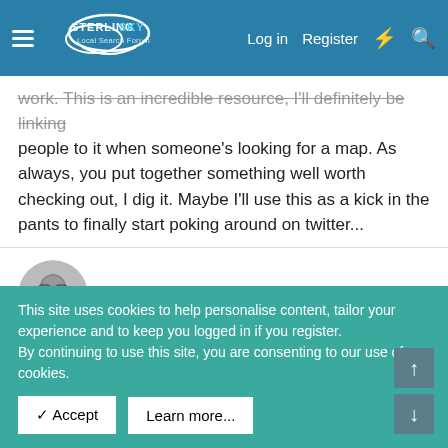Sterling Sky Local Search Forum — Log in | Register
work. This is an incredible resource, I'll definitely be linking people to it when someone's looking for a map. As always, you put together something well worth checking out, I dig it. Maybe I'll use this as a kick in the pants to finally start poking around on twitter...
Garrett Sussman
Jun 14, 2016  #6
Thank you James! You should definitely poke around twitter.
This site uses cookies to help personalise content, tailor your experience and to keep you logged in if you register.
By continuing to use this site, you are consenting to our use of cookies.